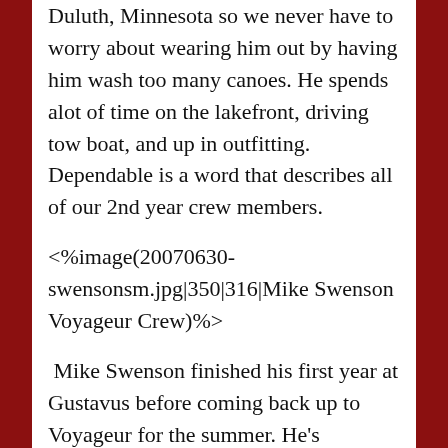Duluth, Minnesota so we never have to worry about wearing him out by having him wash too many canoes.  He spends alot of time on the lakefront, driving tow boat, and up in outfitting.  Dependable is a word that describes all of our 2nd year crew members.
<%image(20070630-swensonsm.jpg|350|316|Mike Swenson Voyageur Crew)%>
Mike Swenson finished his first year at Gustavus before coming back up to Voyageur for the summer.  He's originally from Plymouth, Minnesota and likes the woods and waters of the Gunflint Trail.  Mike does a great job getting equipment ready to be sent out on trips and